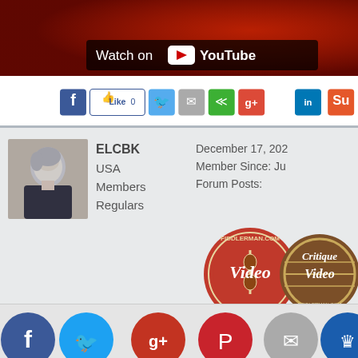[Figure (screenshot): YouTube video thumbnail banner showing 'Watch on YouTube' button overlay on a dark red/brown background image]
[Figure (screenshot): Social media sharing buttons row: Facebook, Facebook Like (0), Twitter, Email, Share, Google+, LinkedIn, StumbleUpon]
[Figure (screenshot): User profile card with avatar photo of a gray-haired woman, username ELCBK, location USA, member type Members/Regulars, date December 17 202x, Member Since: Ju..., Forum Posts:, and two Fiddlerman.com video/critique badges]
[Figure (screenshot): Post toolbar with post number 16, edit pencil, link, and print icons]
@GordonShumway
[Figure (screenshot): Bottom social share circular buttons: Facebook (blue), Twitter (light blue), Google+ (red), Pinterest (red), Email (gray), Crown/other (dark blue)]